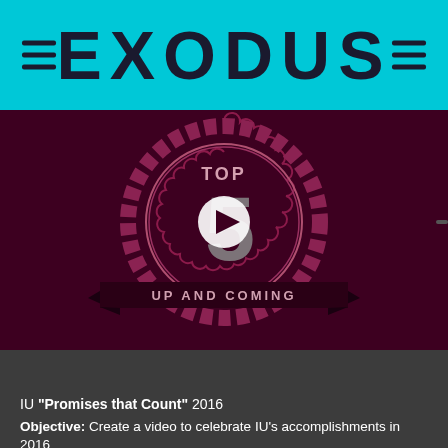EXODUS
[Figure (screenshot): Video thumbnail showing 'Top 5 Up and Coming' badge/seal graphic on dark maroon background with play button overlay. The badge features a scalloped circular seal with a large number '5' and a ribbon banner reading 'UP AND COMING'.]
IU "Promises that Count" 2016
Objective: Create a video to celebrate IU's accomplishments in 2016